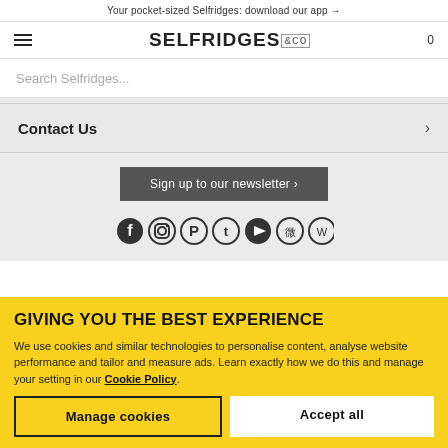Your pocket-sized Selfridges: download our app →
[Figure (logo): Selfridges & Co logo with hamburger menu and cart icon 0]
Search Selfridges...
Contact Us
Sign up to our newsletter ›
[Figure (infographic): Social media icons: Facebook, Instagram, Pinterest, Twitter, YouTube, Weibo, WeChat]
GIVING YOU THE BEST EXPERIENCE
We use cookies and similar technologies to personalise content, analyse website performance and tailor and measure ads. Learn exactly how we do this and manage your setting in our Cookie Policy.
Manage cookies
Accept all